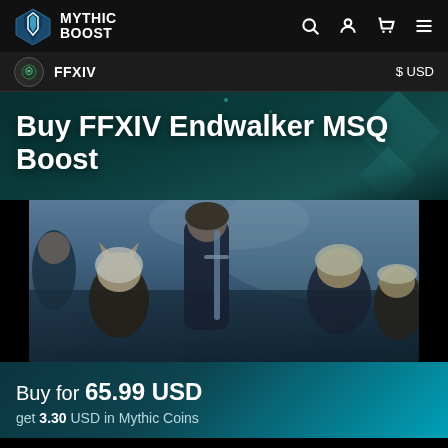MYTHIC BOOST
FFXIV   $ USD
Buy FFXIV Endwalker MSQ Boost
[Figure (photo): FFXIV Endwalker promotional artwork showing fantasy characters with weapons in a dramatic blue-toned composition]
Buy for 65.99 USD
get 3.30 USD in Mythic Coins